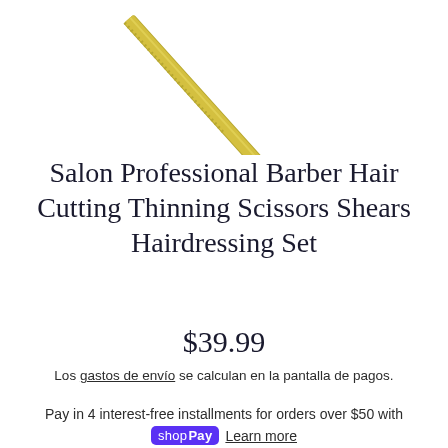[Figure (photo): Partial image of a golden/brass hairdressing scissor or shear, visible at top of page, oriented diagonally]
Salon Professional Barber Hair Cutting Thinning Scissors Shears Hairdressing Set
$39.99
Los gastos de envío se calculan en la pantalla de pagos.
Pay in 4 interest-free installments for orders over $50 with shop Pay  Learn more